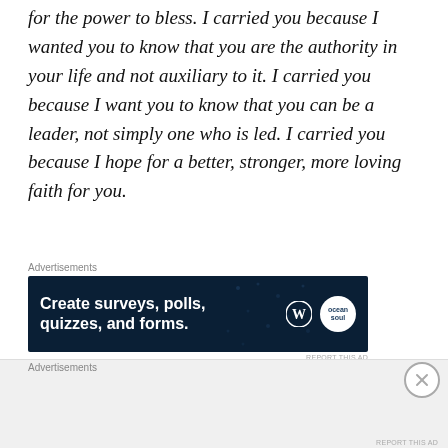for the power to bless. I carried you because I wanted you to know that you are the authority in your life and not auxiliary to it. I carried you because I want you to know that you can be a leader, not simply one who is led. I carried you because I hope for a better, stronger, more loving faith for you.
[Figure (screenshot): Advertisement banner with dark navy background reading 'Create surveys, polls, quizzes, and forms.' with WordPress logo and a circular 'soul' badge on the right side.]
I carried you because I do this for you. I do this for me. I do this for the grandmothers, mothers,